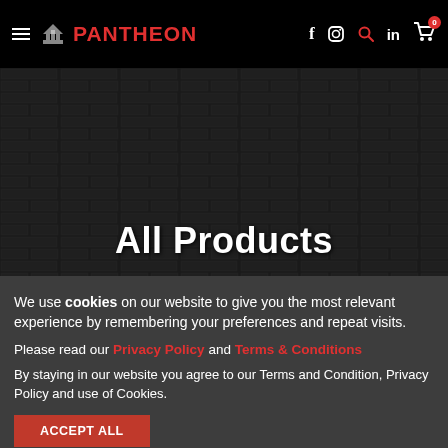Follow us on PANTHEON — social icons — cart 0
All Products
We use cookies on our website to give you the most relevant experience by remembering your preferences and repeat visits.
Please read our Privacy Policy and Terms & Conditions
By staying in our website you agree to our Terms and Condition, Privacy Policy and use of Cookies.
Accept All